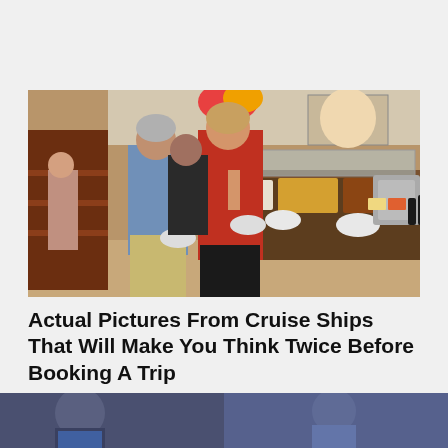[Figure (photo): People at a cruise ship buffet line. A woman in red shirt and a man in blue shirt are selecting food from a buffet counter with food trays and dishes visible.]
Actual Pictures From Cruise Ships That Will Make You Think Twice Before Booking A Trip
4,007
[Figure (photo): Bottom strip showing two partial photos side by side, left appears to show a person in dark clothing, right shows a person in blue.]